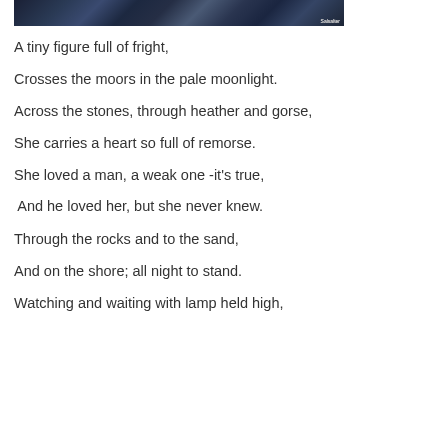[Figure (photo): Dark moody image of a stormy or moonlit seascape/moorland scene in dark blue-grey tones]
A tiny figure full of fright,
Crosses the moors in the pale moonlight.
Across the stones, through heather and gorse,
She carries a heart so full of remorse.
She loved a man, a weak one -it's true,
And he loved her, but she never knew.
Through the rocks and to the sand,
And on the shore; all night to stand.
Watching and waiting with lamp held high,